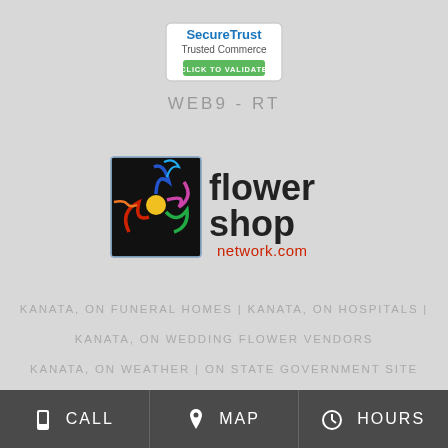[Figure (logo): SecureTrust Trusted Commerce - Click to Validate badge]
WEB9 - RT
[Figure (logo): Flower Shop Network.com logo with colorful flower graphic]
KANATA, ON FUNERAL HOMES | KANATA, ON HOSPITALS | KANATA, ON WEDDING FLOWER VENDORS
KANATA, ON WEATHER | ON STATE GOVERNMENT SITE
PRIVACY POLICY | TERMS OF PURCHASE
CALL   MAP   HOURS